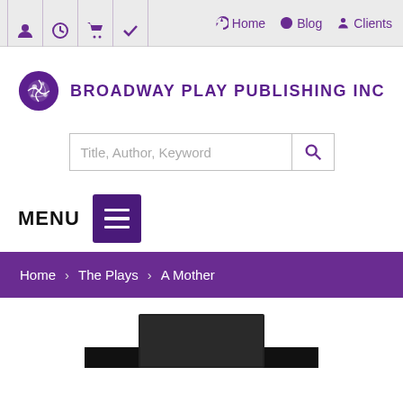Toolbar icons: user, clock, cart, checkmark | Home | Blog | Clients
[Figure (logo): Broadway Play Publishing Inc logo with globe icon]
Title, Author, Keyword (search box)
MENU
Home > The Plays > A Mother
[Figure (photo): Partial view of a book cover at the bottom of the page]